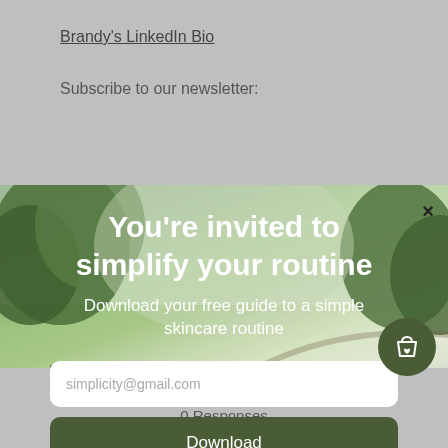Brandy's LinkedIn Bio
Subscribe to our newsletter:
[Figure (screenshot): Nature background with trees and road, partially visible behind modal overlay]
You're invited to simplify your routine
Download your free guide to a simple skincare routine
simplicity@gmail.com
Download
What do you think?
0 Responses